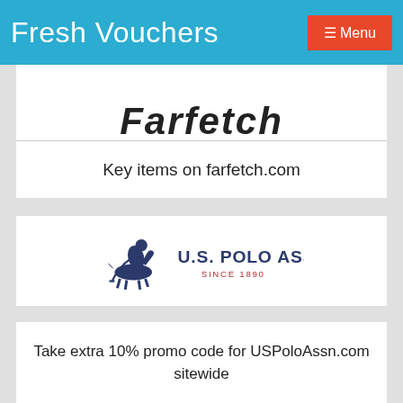Fresh Vouchers  ☰ Menu
[Figure (logo): Farfetch logo (partial, italic bold text)]
Key items on farfetch.com
[Figure (logo): U.S. Polo Assn. logo with polo player and text 'SINCE 1890']
Take extra 10% promo code for USPoloAssn.com sitewide
[Figure (logo): TKEES logo (partial, tan/gold serif text with cross symbol)]